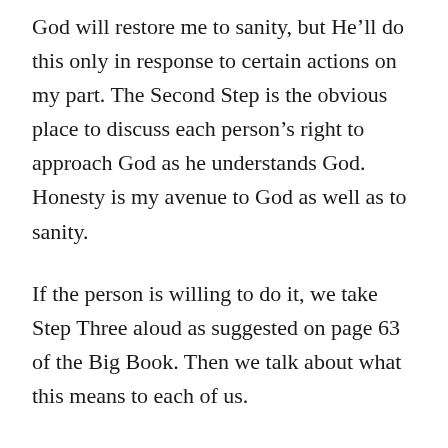God will restore me to sanity, but He'll do this only in response to certain actions on my part. The Second Step is the obvious place to discuss each person's right to approach God as he understands God. Honesty is my avenue to God as well as to sanity.
If the person is willing to do it, we take Step Three aloud as suggested on page 63 of the Big Book. Then we talk about what this means to each of us.
If an alcoholic could take only one Fourth and one Fifth Step in his entire AA career, he'd